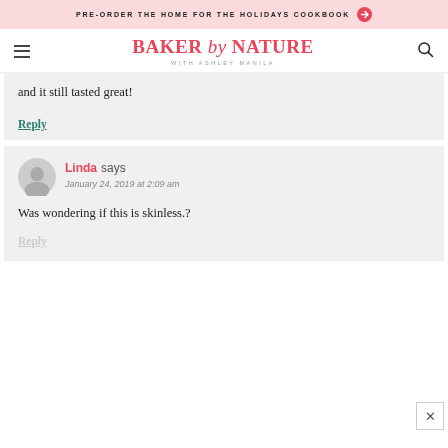PRE-ORDER THE HOME FOR THE HOLIDAYS COOKBOOK
[Figure (logo): Baker by Nature with Ashley Manila logo]
and it still tasted great!
Reply
Linda says
January 24, 2019 at 2:09 am
Was wondering if this is skinless.?
Reply